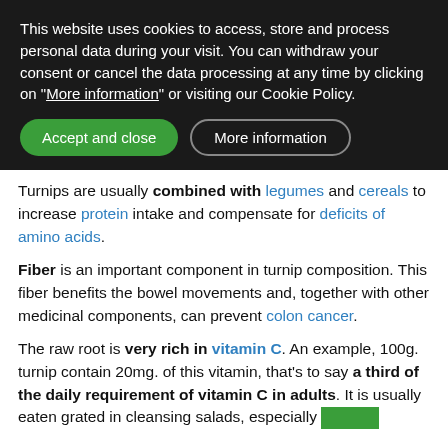This website uses cookies to access, store and process personal data during your visit. You can withdraw your consent or cancel the data processing at any time by clicking on "More information" or visiting our Cookie Policy.
Turnips are usually combined with legumes and cereals to increase protein intake and compensate for deficits of amino acids.
Fiber is an important component in turnip composition. This fiber benefits the bowel movements and, together with other medicinal components, can prevent colon cancer.
The raw root is very rich in vitamin C. An example, 100g. turnip contain 20mg. of this vitamin, that's to say a third of the daily requirement of vitamin C in adults. It is usually eaten grated in cleansing salads, especially [continues]